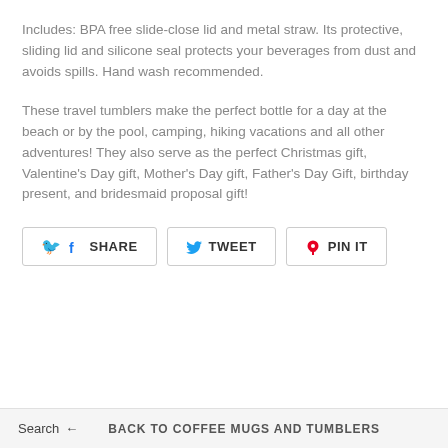Includes: BPA free slide-close lid and metal straw. Its protective, sliding lid and silicone seal protects your beverages from dust and avoids spills. Hand wash recommended.
These travel tumblers make the perfect bottle for a day at the beach or by the pool, camping, hiking vacations and all other adventures! They also serve as the perfect Christmas gift, Valentine's Day gift, Mother's Day gift, Father's Day Gift, birthday present, and bridesmaid proposal gift!
[Figure (other): Social share buttons: SHARE (Facebook), TWEET (Twitter), PIN IT (Pinterest)]
Search ← BACK TO COFFEE MUGS AND TUMBLERS